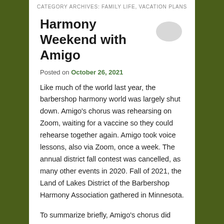CATEGORY ARCHIVES: FAMILY LIFE, VACATION PLANS
Harmony Weekend with Amigo
Posted on October 26, 2021
Like much of the world last year, the barbershop harmony world was largely shut down. Amigo's chorus was rehearsing on Zoom, waiting for a vaccine so they could rehearse together again. Amigo took voice lessons, also via Zoom, once a week. The annual district fall contest was cancelled, as many other events in 2020. Fall of 2021, the Land of Lakes District of the Barbershop Harmony Association gathered in Minnesota.
To summarize briefly, Amigo's chorus did well. They scored well and got some good constructive comments from the judges. They didn't win, but they were pleased with their performance and feedback.